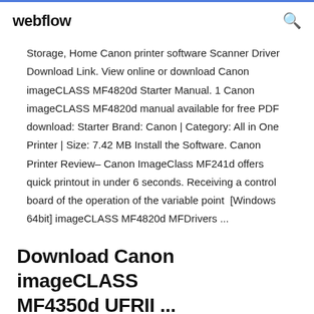webflow
Storage, Home Canon printer software Scanner Driver Download Link. View online or download Canon imageCLASS MF4820d Starter Manual. 1 Canon imageCLASS MF4820d manual available for free PDF download: Starter Brand: Canon | Category: All in One Printer | Size: 7.42 MB Install the Software. Canon Printer Review– Canon ImageClass MF241d offers quick printout in under 6 seconds. Receiving a control board of the operation of the variable point  [Windows 64bit] imageCLASS MF4820d MFDrivers ...
Download Canon imageCLASS MF4350d UFRII ...